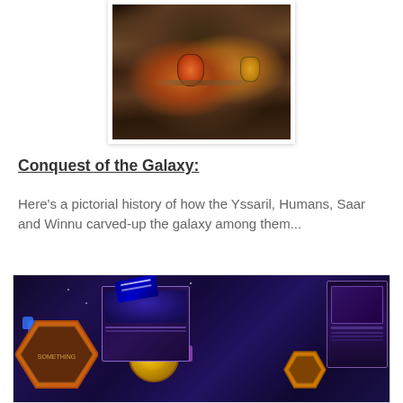[Figure (photo): Close-up illustration/painting of a fantasy alien character with ornate jewelry including a large red/orange gem pendant and gold earring, dark skin, wearing elaborate neck adornments, on a light background.]
Conquest of the Galaxy:
Here's a pictorial history of how the Yssaril, Humans, Saar and Winnu carved-up the galaxy among them...
[Figure (photo): Overhead photo of a Twilight Imperium board game session in progress showing hexagonal game tiles, blue and purple player pieces, faction cards, and an Oreo cookie box on the table.]